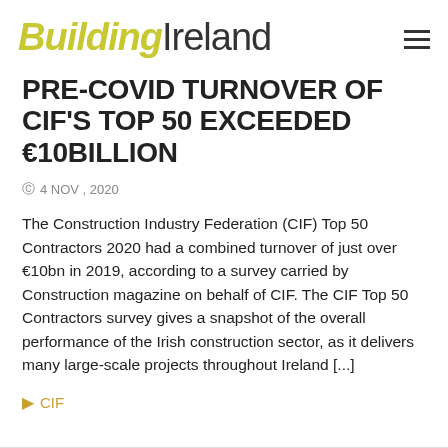Building Ireland
PRE-COVID TURNOVER OF CIF'S TOP 50 EXCEEDED €10BILLION
4 NOV , 2020
The Construction Industry Federation (CIF) Top 50 Contractors 2020 had a combined turnover of just over €10bn in 2019, according to a survey carried by Construction magazine on behalf of CIF. The CIF Top 50 Contractors survey gives a snapshot of the overall performance of the Irish construction sector, as it delivers many large-scale projects throughout Ireland [...]
CIF